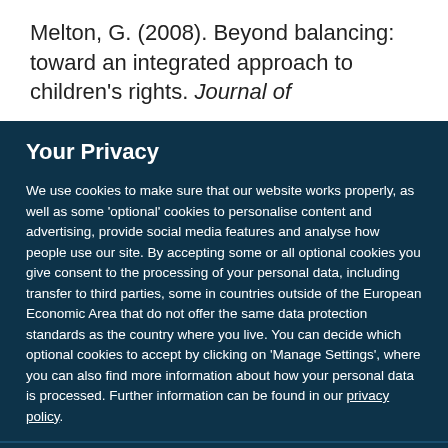Melton, G. (2008). Beyond balancing: toward an integrated approach to children’s rights. Journal of
Your Privacy
We use cookies to make sure that our website works properly, as well as some ‘optional’ cookies to personalise content and advertising, provide social media features and analyse how people use our site. By accepting some or all optional cookies you give consent to the processing of your personal data, including transfer to third parties, some in countries outside of the European Economic Area that do not offer the same data protection standards as the country where you live. You can decide which optional cookies to accept by clicking on ‘Manage Settings’, where you can also find more information about how your personal data is processed. Further information can be found in our privacy policy.
Accept all cookies
Manage preferences